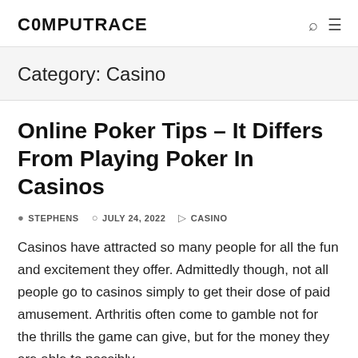C0MPUTRACE
Category: Casino
Online Poker Tips – It Differs From Playing Poker In Casinos
STEPHENS   JULY 24, 2022   CASINO
Casinos have attracted so many people for all the fun and excitement they offer. Admittedly though, not all people go to casinos simply to get their dose of paid amusement. Arthritis often come to gamble not for the thrills the game can give, but for the money they are able to possibly earn at the gambling table.